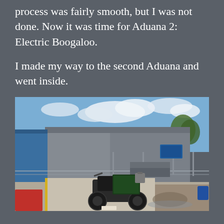process was fairly smooth, but I was not done. Now it was time for Aduana 2: Electric Boogaloo.
I made my way to the second Aduana and went inside.
[Figure (photo): Exterior view of a customs building (Aduana) with a motorcycle parked in the foreground, chain-link fencing, and a partly cloudy sky.]